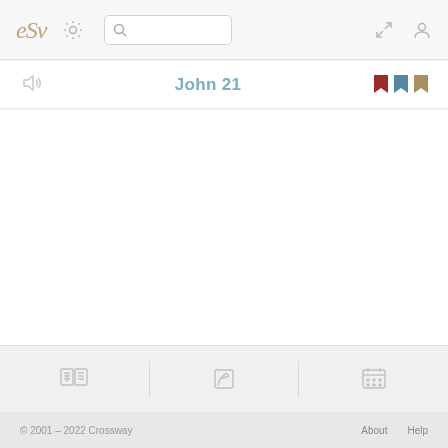ESV Bible app header with logo, settings, search, expand, and profile icons
John 21
[Figure (screenshot): Empty content area for John 21 Bible chapter]
© 2001 – 2022 Crossway    About    Help